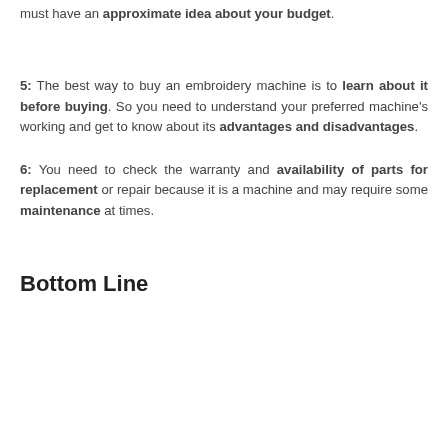must have an approximate idea about your budget.
5: The best way to buy an embroidery machine is to learn about it before buying. So you need to understand your preferred machine's working and get to know about its advantages and disadvantages.
6: You need to check the warranty and availability of parts for replacement or repair because it is a machine and may require some maintenance at times.
Bottom Line